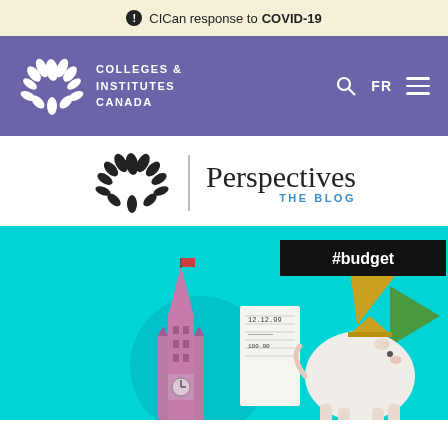ⓘ CICan response to COVID-19
[Figure (logo): Colleges & Institutes Canada logo in white on purple navigation bar with search icon, FR language toggle, and hamburger menu]
[Figure (logo): Colleges & Institutes Canada Perspectives The Blog logo - black leaf/grain icon with vertical divider, 'Perspectives' in dark text and 'THE BLOG' in blue below]
[Figure (illustration): Blog feature image with cyan background showing Parliament Hill tower, a piggy bank with graduation cap, calculator tape, geometric shapes (triangle, circle) and a black #budget hashtag banner]